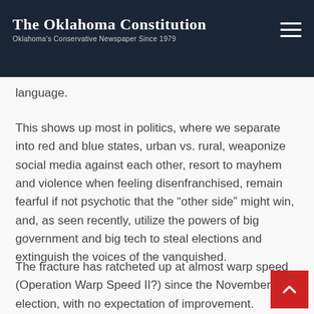The Oklahoma Constitution — Oklahoma's Conservative Newspaper Since 1979
language.
This shows up most in politics, where we separate into red and blue states, urban vs. rural, weaponize social media against each other, resort to mayhem and violence when feeling disenfranchised, remain fearful if not psychotic that the "other side" might win, and, as seen recently, utilize the powers of big government and big tech to steal elections and extinguish the voices of the vanquished.
The fracture has ratcheted up at almost warp speed (Operation Warp Speed II?) since the November election, with no expectation of improvement. Outright civil war more than compromise is now a distinct possibility.